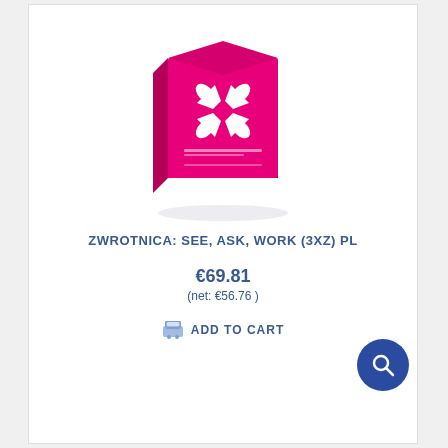[Figure (photo): Pink/magenta product box with white star-like logo design, casting a shadow on white background]
ZWROTNICA: SEE, ASK, WORK (3XZ) PL
€69.81
(net: €56.76 )
ADD TO CART